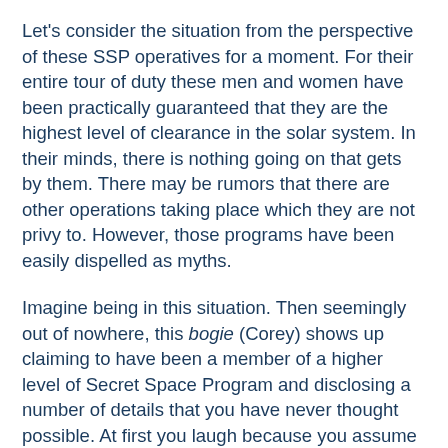Let's consider the situation from the perspective of these SSP operatives for a moment. For their entire tour of duty these men and women have been practically guaranteed that they are the highest level of clearance in the solar system. In their minds, there is nothing going on that gets by them. There may be rumors that there are other operations taking place which they are not privy to. However, those programs have been easily dispelled as myths.
Imagine being in this situation. Then seemingly out of nowhere, this bogie (Corey) shows up claiming to have been a member of a higher level of Secret Space Program and disclosing a number of details that you have never thought possible. At first you laugh because you assume that he is just another nut from the surface who has gotten lucky in his guesses about top secret intelligence. Then this supposed nut starts getting a little too specific for you not to take notice. He starts disclosing intelligence about places even